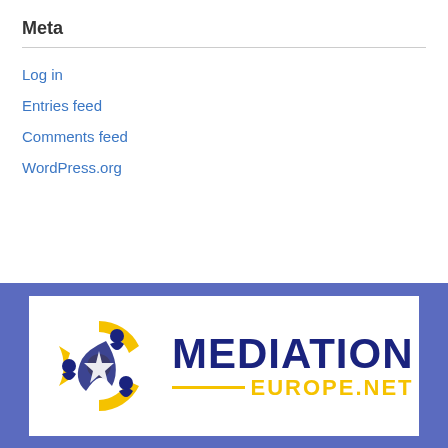Meta
Log in
Entries feed
Comments feed
WordPress.org
[Figure (logo): Mediation Europe.net logo with circular emblem of stylized figures in blue and yellow, and bold text 'MEDIATION' in dark navy and 'EUROPE.NET' in yellow]